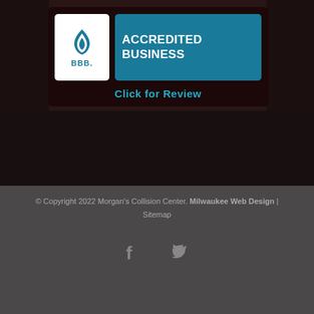[Figure (logo): BBB Accredited Business badge with blue shield logo and 'Click for Review' text below on dark background]
© Copyright 2022 Morgan's Collision Center. Milwaukee Web Design | Sitemap
[Figure (other): Facebook and Twitter social media icons in gray]